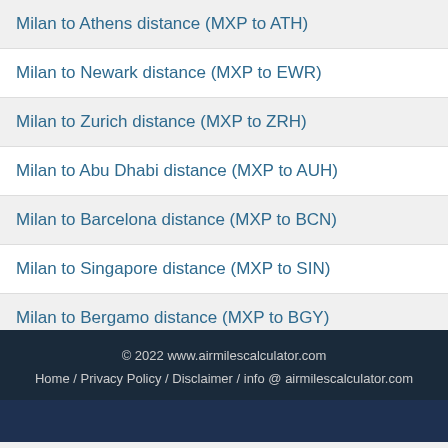Milan to Athens distance (MXP to ATH)
Milan to Newark distance (MXP to EWR)
Milan to Zurich distance (MXP to ZRH)
Milan to Abu Dhabi distance (MXP to AUH)
Milan to Barcelona distance (MXP to BCN)
Milan to Singapore distance (MXP to SIN)
Milan to Bergamo distance (MXP to BGY)
© 2022 www.airmilescalculator.com
Home / Privacy Policy / Disclaimer / info @ airmilescalculator.com